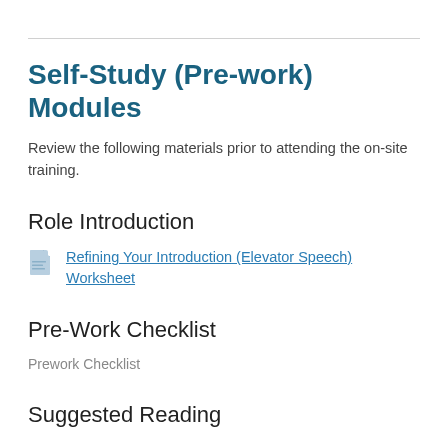Self-Study (Pre-work) Modules
Review the following materials prior to attending the on-site training.
Role Introduction
Refining Your Introduction (Elevator Speech) Worksheet
Pre-Work Checklist
Prework Checklist
Suggested Reading